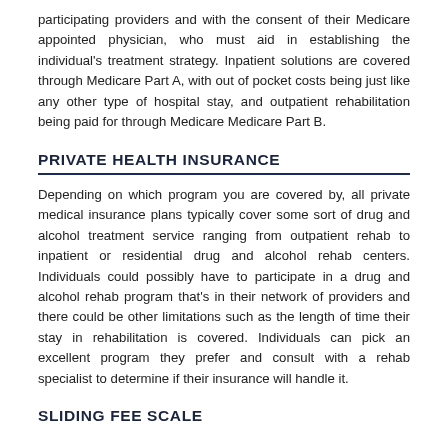participating providers and with the consent of their Medicare appointed physician, who must aid in establishing the individual's treatment strategy. Inpatient solutions are covered through Medicare Part A, with out of pocket costs being just like any other type of hospital stay, and outpatient rehabilitation being paid for through Medicare Medicare Part B.
PRIVATE HEALTH INSURANCE
Depending on which program you are covered by, all private medical insurance plans typically cover some sort of drug and alcohol treatment service ranging from outpatient rehab to inpatient or residential drug and alcohol rehab centers. Individuals could possibly have to participate in a drug and alcohol rehab program that's in their network of providers and there could be other limitations such as the length of time their stay in rehabilitation is covered. Individuals can pick an excellent program they prefer and consult with a rehab specialist to determine if their insurance will handle it.
SLIDING FEE SCALE